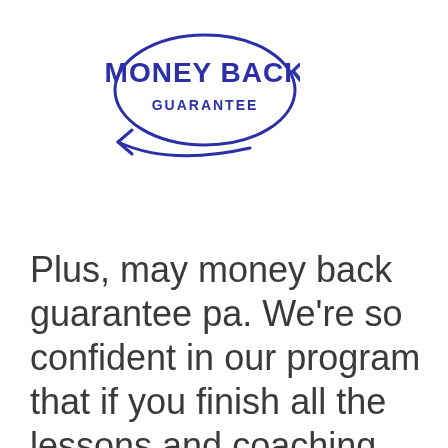[Figure (logo): Money Back Guarantee badge — oval shape with arrow pointing left, text 'MONEY BACK' in bold dark blue and 'GUARANTEE' below in smaller dark blue capitals]
Plus, may money back guarantee pa. We're so confident in our program that if you finish all the lessons and coaching and still don't get hired within 6 months after, we will give